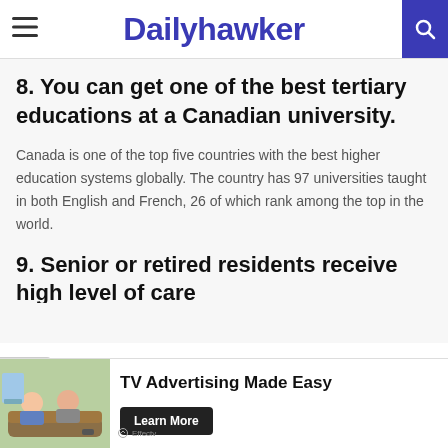Dailyhawker
8. You can get one of the best tertiary educations at a Canadian university.
Canada is one of the top five countries with the best higher education systems globally. The country has 97 universities taught in both English and French, 26 of which rank among the top in the world.
9. Senior or retired residents receive high level of care
[Figure (infographic): Advertisement banner: TV Advertising Made Easy by Effectv with Learn More button]